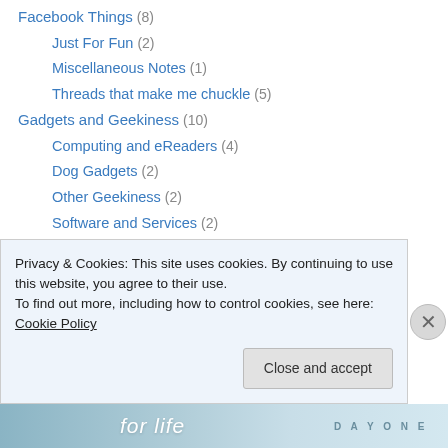Facebook Things (8)
Just For Fun (2)
Miscellaneous Notes (1)
Threads that make me chuckle (5)
Gadgets and Geekiness (10)
Computing and eReaders (4)
Dog Gadgets (2)
Other Geekiness (2)
Software and Services (2)
Hurricane Katrina – Lamar-Dixon Chronicles (15)
Life Beyond Dogs (14)
Blue Apron – Learning to Cook (8)
Energy Notes (2)
Family and Friends (3)
Privacy & Cookies: This site uses cookies. By continuing to use this website, you agree to their use.
To find out more, including how to control cookies, see here: Cookie Policy